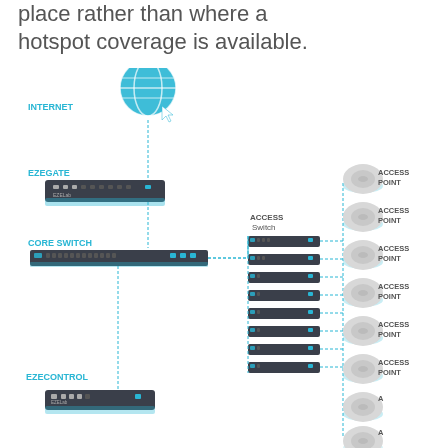place rather than where a hotspot coverage is available.
[Figure (network-graph): Network diagram showing INTERNET globe icon connecting to EZEGATE device, then to CORE SWITCH, which connects to multiple ACCESS Switch units, each connecting to ACCESS POINT devices on the right. EZECONTROL device shown at bottom left.]